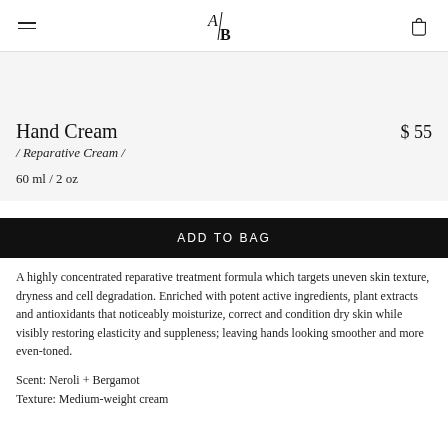A/B logo, hamburger menu, bag icon
Hand Cream
$ 55
/ Reparative Cream /
60 ml / 2 oz
ADD TO BAG
A highly concentrated reparative treatment formula which targets uneven skin texture, dryness and cell degradation. Enriched with potent active ingredients, plant extracts and antioxidants that noticeably moisturize, correct and condition dry skin while visibly restoring elasticity and suppleness; leaving hands looking smoother and more even-toned.
Scent: Neroli + Bergamot
Texture: Medium-weight cream